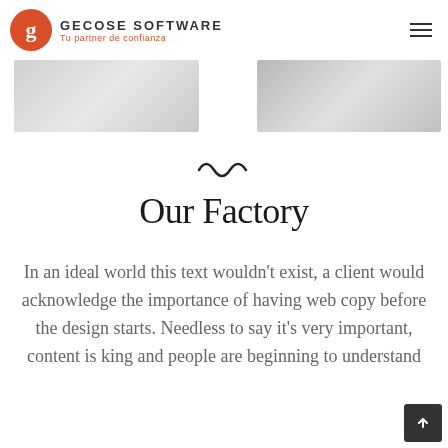GECOSE SOFTWARE — Tu partner de confianza
[Figure (photo): Two grayscale/light grey image placeholders side by side in a strip]
∿
Our Factory
In an ideal world this text wouldn't exist, a client would acknowledge the importance of having web copy before the design starts. Needless to say it's very important, content is king and people are beginning to understand